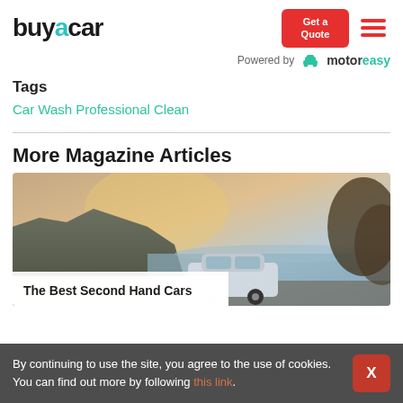[Figure (logo): buyacar logo with teal 'a' letter]
[Figure (logo): Powered by motoreasy logo with car icon]
Tags
Car Wash Professional Clean
More Magazine Articles
[Figure (photo): A white car parked by a coastal road with cliffs and ocean in the background at sunset]
The Best Second Hand Cars
By continuing to use the site, you agree to the use of cookies. You can find out more by following this link.